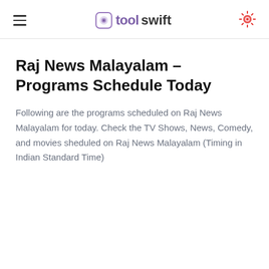toolswift
Raj News Malayalam - Programs Schedule Today
Following are the programs scheduled on Raj News Malayalam for today. Check the TV Shows, News, Comedy, and movies sheduled on Raj News Malayalam (Timing in Indian Standard Time)